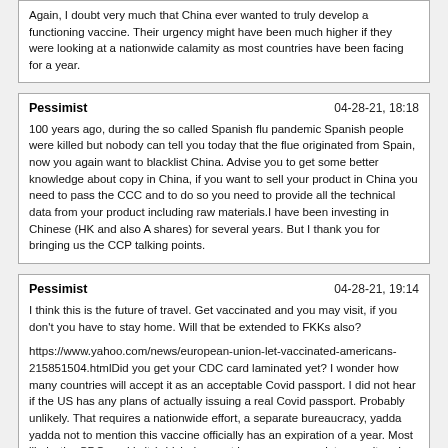Again, I doubt very much that China ever wanted to truly develop a functioning vaccine. Their urgency might have been much higher if they were looking at a nationwide calamity as most countries have been facing for a year.
Pessimist  04-28-21, 18:18
100 years ago, during the so called Spanish flu pandemic Spanish people were killed but nobody can tell you today that the flue originated from Spain, now you again want to blacklist China. Advise you to get some better knowledge about copy in China, if you want to sell your product in China you need to pass the CCC and to do so you need to provide all the technical data from your product including raw materials.I have been investing in Chinese (HK and also A shares) for several years. But I thank you for bringing us the CCP talking points.
Pessimist  04-28-21, 19:14
I think this is the future of travel. Get vaccinated and you may visit, if you don't you have to stay home. Will that be extended to FKKs also?

https://www.yahoo.com/news/european-union-let-vaccinated-americans-215851504.htmlDid you get your CDC card laminated yet? I wonder how many countries will accept it as an acceptable Covid passport. I did not hear if the US has any plans of actually issuing a real Covid passport. Probably unlikely. That requires a nationwide effort, a separate bureaucracy, yadda yadda not to mention this vaccine officially has an expiration of a year. Most likely, the CDC card is it (which does not have even your picture on it and hence is not much of an ID, but it is something).

Anyway, even if US travelers are accepted in DE, not sure how many will be rushing. Their situation is now worse than here. All the travel related businesses (airlines, Visa / Mastercard, etc) are saying regional travel is opening up -- intra Europe, US to LatAM corridor, etc. Speaking for myself, I will go only if the FKKs are functioning, normal, and girls quality / service is reasonably near pre covid levels. Otherwise, I have no interest in visiting Europe for tourism purpose on my own or w/ family (and speaking of FKK...